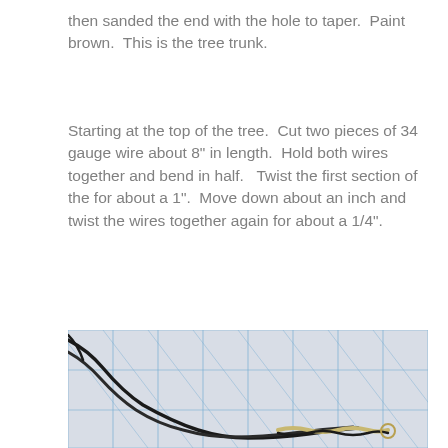then sanded the end with the hole to taper.  Paint brown.  This is the tree trunk.
Starting at the top of the tree.  Cut two pieces of 34 gauge wire about 8" in length.  Hold both wires together and bend in half.   Twist the first section of the for about a 1".  Move down about an inch and twist the wires together again for about a 1/4".
[Figure (photo): Close-up photograph of dark wires twisted together lying on a blue grid/graph paper background. The wires appear to be 34 gauge wire bent and twisted as described in the instructions.]